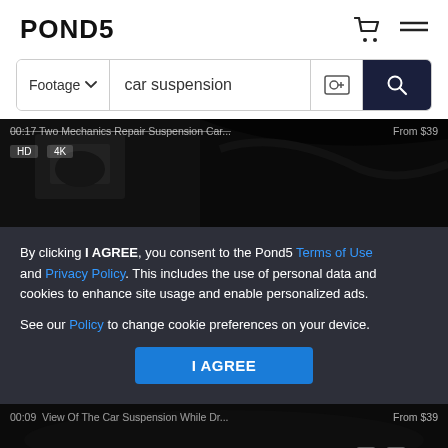POND5
Footage  car suspension
[Figure (screenshot): Dark video thumbnail showing car suspension undercarriage with text overlay: title text, HD | 4K badge, From $39 price]
By clicking I AGREE, you consent to the Pond5 Terms of Use and Privacy Policy. This includes the use of personal data and cookies to enhance site usage and enable personalized ads.
See our Policy to change cookie preferences on your device.
I AGREE
[Figure (screenshot): Dark video thumbnail: 00:09 View Of The Car Suspension While Dr... From $39 HD | 4K]